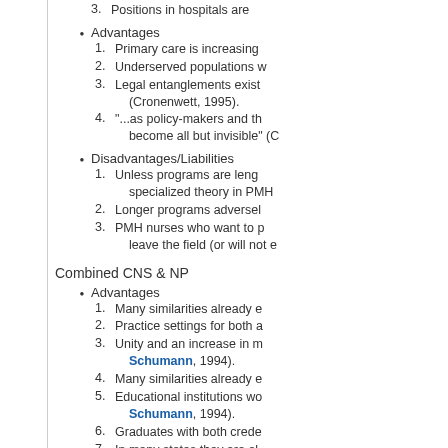3. Positions in hospitals are
Advantages
1. Primary care is increasing
2. Underserved populations w
3. Legal entanglements exist (Cronenwett, 1995).
4. "...as policy-makers and th become all but invisible" (C
Disadvantages/Liabilities
1. Unless programs are leng specialized theory in PMH
2. Longer programs adversel
3. PMH nurses who want to p leave the field (or will not e
Combined CNS & NP
Advantages
1. Many similarities already e
2. Practice settings for both a
3. Unity and an increase in m Schumann, 1994).
4. Many similarities already e
5. Educational institutions wo Schumann, 1994).
6. Graduates with both crede
7. In many states they are al
8. The public and other disci
Disadvantages/Liabilities
1. Scope of practice is differe